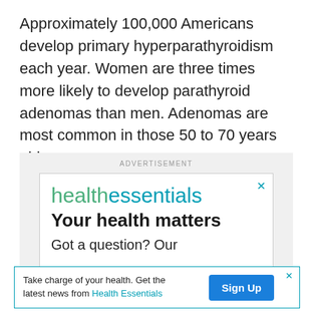Approximately 100,000 Americans develop primary hyperparathyroidism each year. Women are three times more likely to develop parathyroid adenomas than men. Adenomas are most common in those 50 to 70 years old.
[Figure (other): Advertisement banner for Health Essentials showing brand name 'healthessentials' in green and teal, tagline 'Your health matters', and subtext 'Got a question? Our' with a close (X) button. Below is a smaller ad banner reading 'Take charge of your health. Get the latest news from Health Essentials' with a blue 'Sign Up' button.]